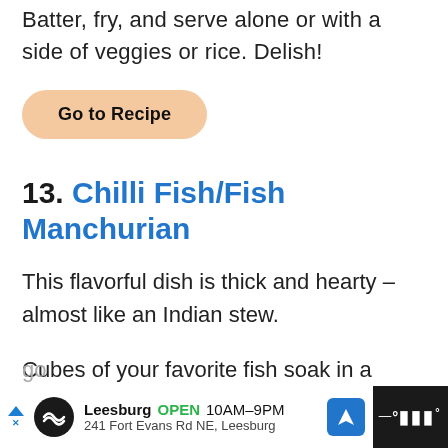Batter, fry, and serve alone or with a side of veggies or rice. Delish!
Go to Recipe
13. Chilli Fish/Fish Manchurian
This flavorful dish is thick and hearty – almost like an Indian stew.
Cubes of your favorite fish soak in a scrumptious marinade and then fry until go
Leesburg OPEN 10AM–9PM 241 Fort Evans Rd NE, Leesburg